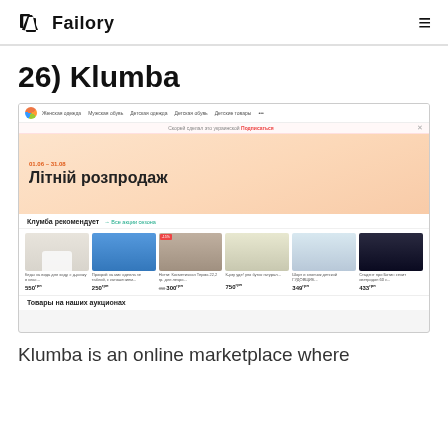Failory
26) Klumba
[Figure (screenshot): Screenshot of the Klumba online marketplace website showing navigation bar, a summer sale banner reading 'Літній розпродаж' (01.06 – 31.08), a product recommendation section 'Клумба рекомендует' with 6 product cards showing shoes and clothing items with prices (550, 250, 300, 750, 349, 433 UAH), and a footer link 'Товары на наших аукционах'.]
Klumba is an online marketplace where